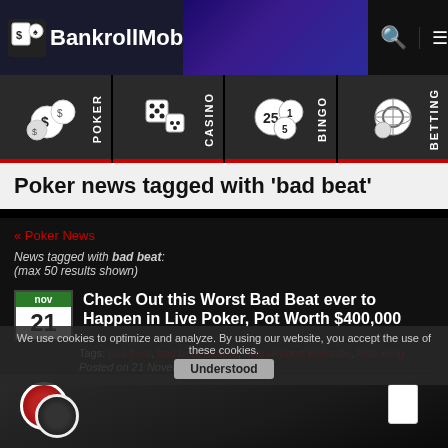[Figure (screenshot): BankrollMob website header with logo, casino imagery, search and menu icons]
[Figure (infographic): Navigation tiles for Poker, Casino, Bingo, Betting with icons and red underline]
Poker news tagged with 'bad beat'
« Poker News
News tagged with bad beat: (max 50 results shown)
Check Out this Worst Bad Beat ever to Happen in Live Poker, Pot Worth $400,000
Tags: bad beat, bad beat jackpot, Jean-Robert Bellande, Rob Yong
Posted on 21 November 2019 by 'T_y
We use cookies to optimize and analyze. By using our website, you accept the use of these cookies. Understood
[Figure (photo): Poker table with chips and cards visible]